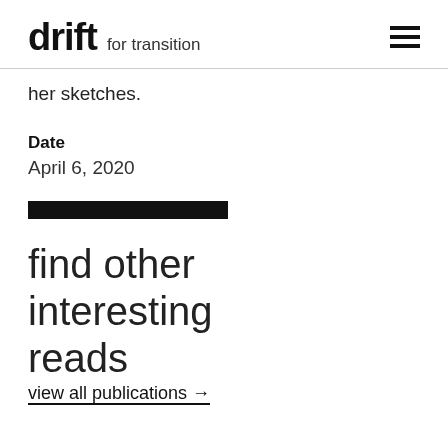drift for transition
her sketches.
Date
April 6, 2020
[Figure (other): Black horizontal rectangle/bar used as a divider]
find other interesting reads
view all publications →